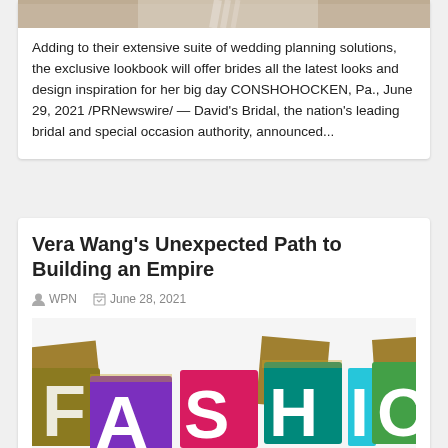[Figure (photo): Top portion of a bridal veil photo, partially visible]
Adding to their extensive suite of wedding planning solutions, the exclusive lookbook will offer brides all the latest looks and design inspiration for her big day CONSHOHOCKEN, Pa., June 29, 2021 /PRNewswire/ — David's Bridal, the nation's leading bridal and special occasion authority, announced...
Vera Wang's Unexpected Path to Building an Empire
WPN   June 28, 2021
[Figure (illustration): Colorful FASHION letter blocks graphic with large decorative letters F, A, S, H, I, O shown in purple, pink, teal, green, and gold colored square tiles]